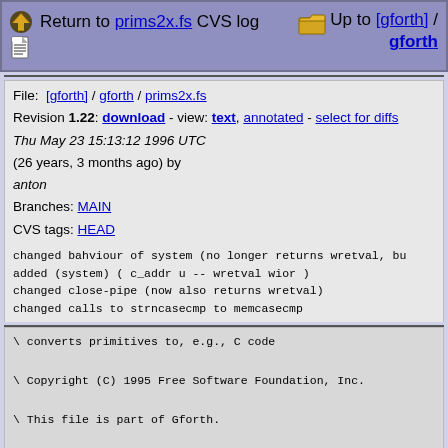Return to prims2x.fs CVS log   Up to [gforth] / gforth
File: [gforth] / gforth / prims2x.fs
Revision 1.22: download - view: text, annotated - select for diffs
Thu May 23 15:13:12 1996 UTC (26 years, 3 months ago) by
anton
Branches: MAIN
CVS tags: HEAD
changed bahviour of system (no longer returns wretval, bu
added (system) ( c_addr u -- wretval wior )
changed close-pipe (now also returns wretval)
changed calls to strncasecmp to memcasecmp
\ converts primitives to, e.g., C code

\ Copyright (C) 1995 Free Software Foundation, Inc.

\ This file is part of Gforth.

\ Gforth is free software; you can redistribute it and/o
\ modify it under the terms of the GNU General Public Li
\ as published by the Free Software Foundation; either v
\ of the License, or (at your option) any later version.